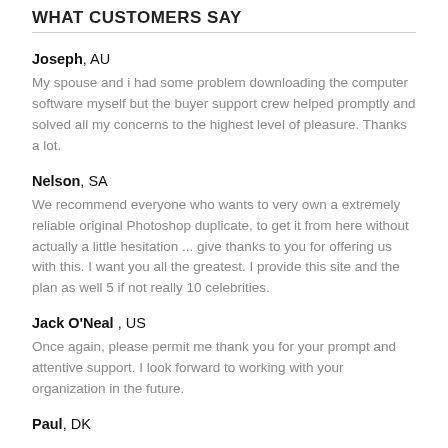WHAT CUSTOMERS SAY
Joseph, AU
My spouse and i had some problem downloading the computer software myself but the buyer support crew helped promptly and solved all my concerns to the highest level of pleasure. Thanks a lot.
Nelson, SA
We recommend everyone who wants to very own a extremely reliable original Photoshop duplicate, to get it from here without actually a little hesitation ... give thanks to you for offering us with this. I want you all the greatest. I provide this site and the plan as well 5 if not really 10 celebrities.
Jack O'Neal , US
Once again, please permit me thank you for your prompt and attentive support. I look forward to working with your organization in the future.
Paul, DK